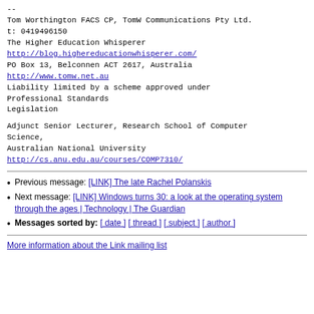--
Tom Worthington FACS CP, TomW Communications Pty Ltd.
t: 0419496150
The Higher Education Whisperer
http://blog.highereducationwhisperer.com/
PO Box 13, Belconnen ACT 2617, Australia
http://www.tomw.net.au
Liability limited by a scheme approved under Professional Standards Legislation
Adjunct Senior Lecturer, Research School of Computer Science,
Australian National University
http://cs.anu.edu.au/courses/COMP7310/
Previous message: [LINK] The late Rachel Polanskis
Next message: [LINK] Windows turns 30: a look at the operating system through the ages | Technology | The Guardian
Messages sorted by: [ date ] [ thread ] [ subject ] [ author ]
More information about the Link mailing list